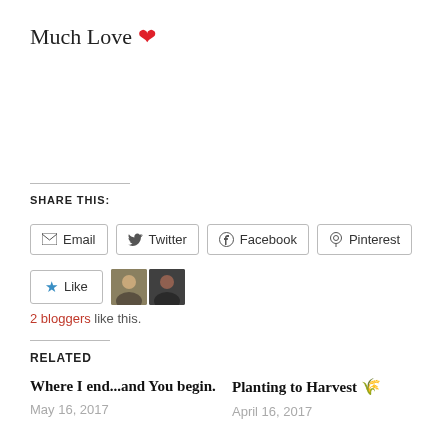Much Love ❤
SHARE THIS:
Email | Twitter | Facebook | Pinterest
Like | 2 bloggers like this.
RELATED
Where I end...and You begin.
May 16, 2017
Planting to Harvest 🌾
April 16, 2017